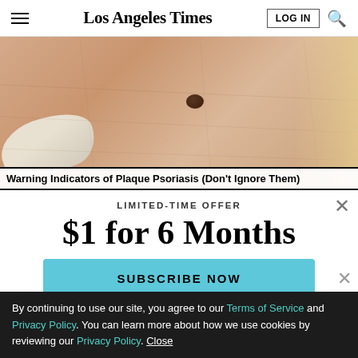Los Angeles Times  LOG IN  [search icon]
[Figure (photo): Close-up photo of skin with a mole and a gloved finger pointing at it]
Warning Indicators of Plaque Psoriasis (Don't Ignore Them)
LIMITED-TIME OFFER
$1 for 6 Months
SUBSCRIBE NOW
By continuing to use our site, you agree to our Terms of Service and Privacy Policy. You can learn more about how we use cookies by reviewing our Privacy Policy. Close